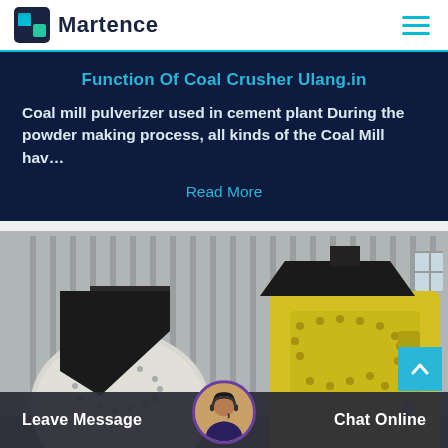Martence
Function Of Coal Crusher Ulang.in
Coal mill pulverizer used in cement plant During the powder making process, all kinds of the Coal Mill hav…
Read More
[Figure (photo): Large industrial crusher/impact mill machines (yellow and white) parked outside a factory building]
Leave Message   Chat Online